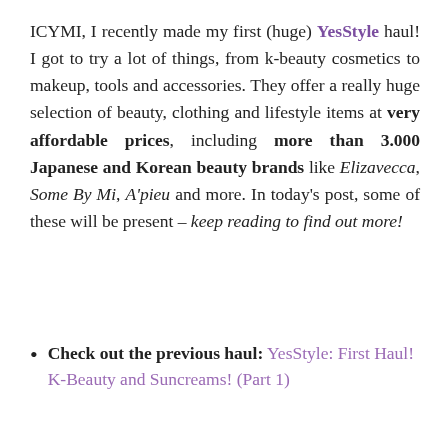ICYMI, I recently made my first (huge) YesStyle haul! I got to try a lot of things, from k-beauty cosmetics to makeup, tools and accessories. They offer a really huge selection of beauty, clothing and lifestyle items at very affordable prices, including more than 3.000 Japanese and Korean beauty brands like Elizavecca, Some By Mi, A'pieu and more. In today's post, some of these will be present – keep reading to find out more!
Check out the previous haul: YesStyle: First Haul! K-Beauty and Suncreams! (Part 1)